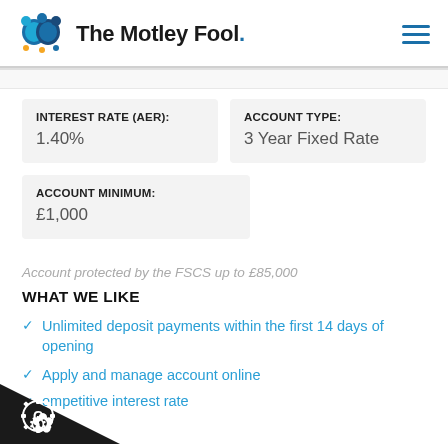The Motley Fool
| INTEREST RATE (AER): | ACCOUNT TYPE: |
| --- | --- |
| 1.40% | 3 Year Fixed Rate |
| ACCOUNT MINIMUM: |
| --- |
| £1,000 |
Account protected by the FSCS up to £85,000
WHAT WE LIKE
Unlimited deposit payments within the first 14 days of opening
Apply and manage account online